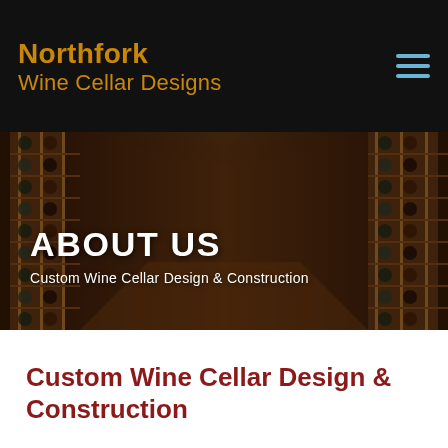Northfork Wine Cellar Designs
[Figure (photo): Interior of a wine cellar with wooden racks filled with wine bottles on both sides, illuminated by overhead spotlights, with a long corridor perspective]
ABOUT US
Custom Wine Cellar Design & Construction
Custom Wine Cellar Design & Construction